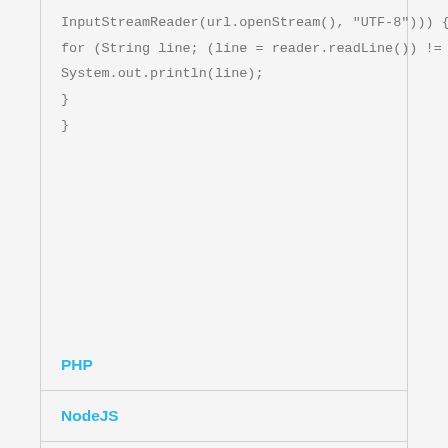InputStreamReader(url.openStream(), "UTF-8"))) {
for (String line; (line = reader.readLine()) != null;) {
System.out.println(line);
}
}
PHP
NodeJS
Python
Go
Ruby
C#
R